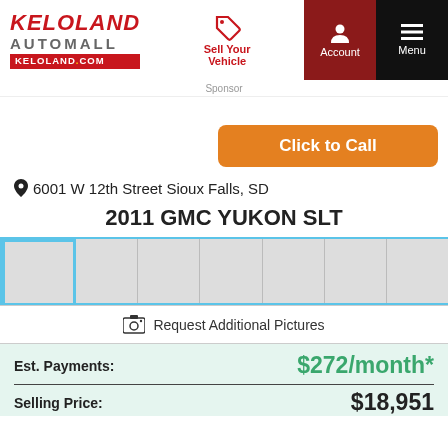[Figure (logo): Keloland Automall logo with KELOLAND in red italic, AUTOMALL in gray, and KELOLAND.com in red bar]
Sell Your Vehicle
Account
Menu
Sponsor
Click to Call
6001 W 12th Street Sioux Falls, SD
2011 GMC YUKON SLT
[Figure (photo): Row of thumbnail image placeholders for vehicle photos, first selected with blue border]
Request Additional Pictures
Est. Payments: $272/month*
Selling Price: $18,951